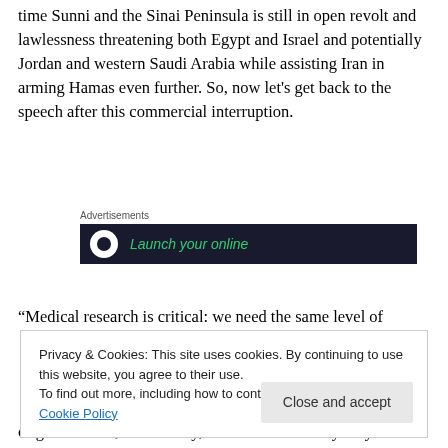time Sunni and the Sinai Peninsula is still in open revolt and lawlessness threatening both Egypt and Israel and potentially Jordan and western Saudi Arabia while assisting Iran in arming Hamas even further. So, now let's get back to the speech after this commercial interruption.
[Figure (other): Advertisement banner with dark background showing 'Launch your online' text in green italic font with a white circle logo on the left, labeled 'Advertisements' above.]
“Medical research is critical: we need the same level of
Privacy & Cookies: This site uses cookies. By continuing to use this website, you agree to their use.
To find out more, including how to control cookies, see here: Cookie Policy
of government, the military, and so on. Does anybody